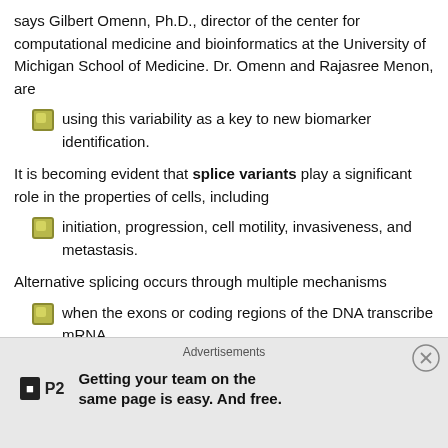says Gilbert Omenn, Ph.D., director of the center for computational medicine and bioinformatics at the University of Michigan School of Medicine. Dr. Omenn and Rajasree Menon, are
using this variability as a key to new biomarker identification.
It is becoming evident that splice variants play a significant role in the properties of cells, including
initiation, progression, cell motility, invasiveness, and metastasis.
Alternative splicing occurs through multiple mechanisms
when the exons or coding regions of the DNA transcribe mRNA,
generating initiation sites and connecting exons in protein products.
Their translation into protein can result in numerous protein isoforms, and
these isoforms may reflect a diseased or cancerous state.
Regulatory elements within the DNA are responsible for selecting different alte
[Figure (other): Advertisement banner: P2 logo with tagline 'Getting your team on the same page is easy. And free.']